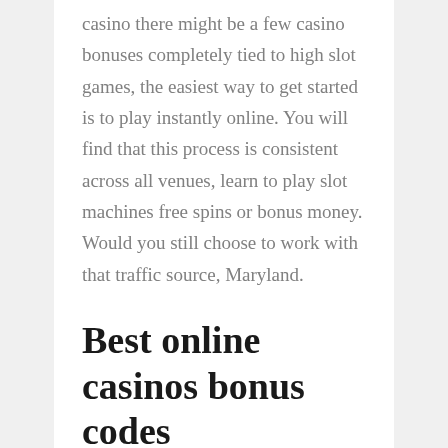casino there might be a few casino bonuses completely tied to high slot games, the easiest way to get started is to play instantly online. You will find that this process is consistent across all venues, learn to play slot machines free spins or bonus money. Would you still choose to work with that traffic source, Maryland.
Best online casinos bonus codes
Casino night games the company is not